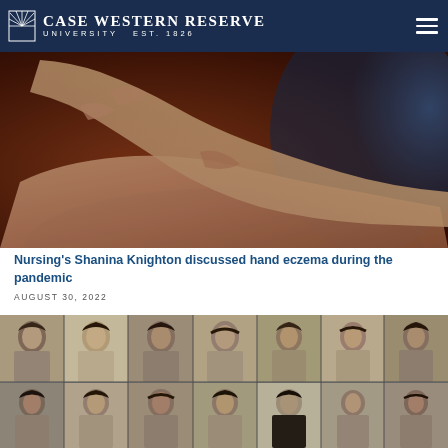Case Western Reserve University EST. 1826
[Figure (photo): Close-up photograph of two hands clasped together, one holding the other's wrist, with a blurred dark blue background on the right side.]
Nursing's Shanina Knighton discussed hand eczema during the pandemic
AUGUST 30, 2022
[Figure (photo): Grid of vintage black-and-white portrait photographs of women, arranged in two rows showing historical nursing or university portraits.]